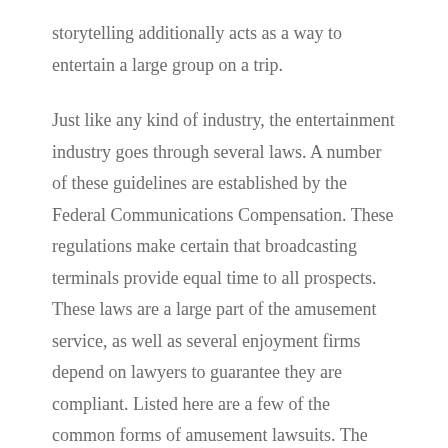storytelling additionally acts as a way to entertain a large group on a trip.
Just like any kind of industry, the entertainment industry goes through several laws. A number of these guidelines are established by the Federal Communications Compensation. These regulations make certain that broadcasting terminals provide equal time to all prospects. These laws are a large part of the amusement service, as well as several enjoyment firms depend on lawyers to guarantee they are compliant. Listed here are a few of the common forms of amusement lawsuits. The very first two kinds are civil litigation, employment conflicts, and also entertainment torts.